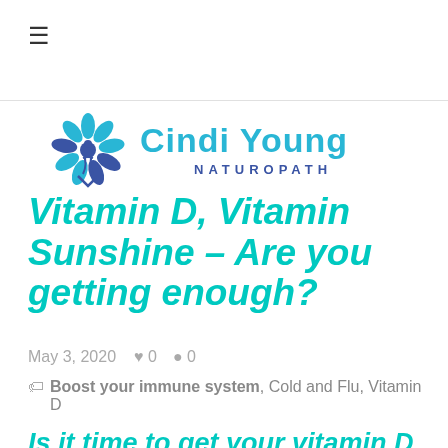☰
[Figure (logo): Cindi Young Naturopath logo with teal flower and blue/teal text]
Vitamin D, Vitamin Sunshine – Are you getting enough?
May 3, 2020  ♥ 0  💬 0
Boost your immune system, Cold and Flu, Vitamin D
Is it time to get your vitamin D levels checked?